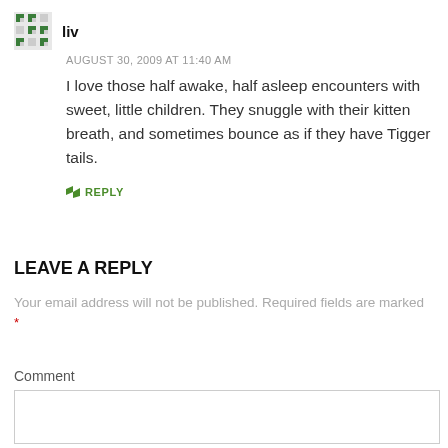liv
AUGUST 30, 2009 AT 11:40 AM
I love those half awake, half asleep encounters with sweet, little children. They snuggle with their kitten breath, and sometimes bounce as if they have Tigger tails.
REPLY
LEAVE A REPLY
Your email address will not be published. Required fields are marked *
Comment